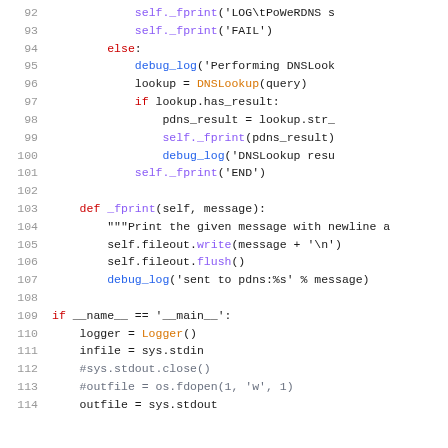[Figure (screenshot): Python source code snippet, lines 92-114, showing DNS lookup logic, _fprint method definition, and __main__ block with Logger initialization.]